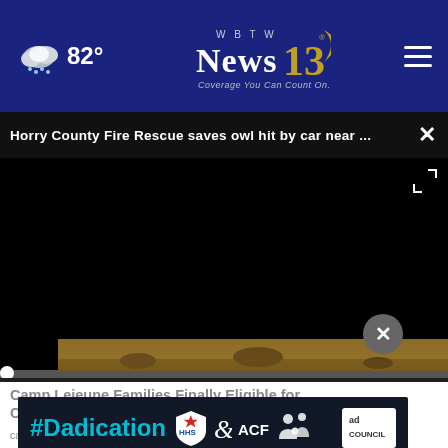WBTW News 13 – Coverage You Can Count On. 82°
Horry County Fire Rescue saves owl hit by car near ...
[Figure (screenshot): Black video player area with progress bar and playback controls (play, mute, 00:00 timestamp, CC, fullscreen)]
[Figure (photo): Thumbnail strip showing outdoor ground with rocks/dirt/leaves]
Camp Lejeune Families Finally Eligible for Compensation
camplejeunelawsuitettlement.com
[Figure (infographic): #Dadication advertisement banner with ACF, National Responsible Fatherhood Clearinghouse, and Ad Council logos]